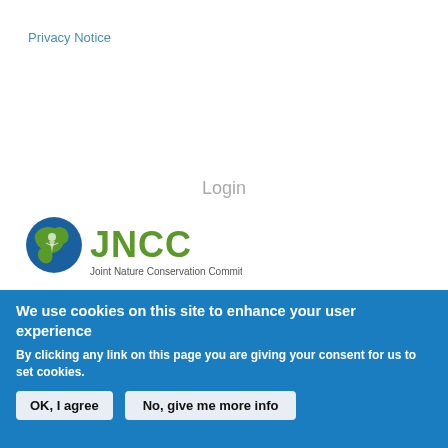Privacy Notice
Login
[Figure (logo): JNCC logo — globe icon with green text 'JNCC' and subtitle 'Joint Nature Conservation Committee']
We use cookies on this site to enhance your user experience
By clicking any link on this page you are giving your consent for us to set cookies.
OK, I agree
No, give me more info